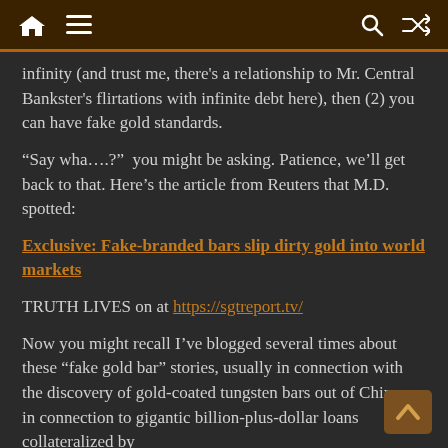[Navigation bar with home, menu, search, shuffle icons]
infinity (and trust me, there's a relationship to Mr. Central Bankster's flirtations with infinite debt here), then (2) you can have fake gold standards.
“Say wha….?”  you might be asking. Patience, we’ll get back to that. Here’s the article from Reuters that M.D. spotted:
Exclusive: Fake-branded bars slip dirty gold into world markets
TRUTH LIVES on at https://sgtreport.tv/
Now you might recall I’ve blogged several times about these “fake gold bar” stories, usually in connection with the discovery of gold-coated tungsten bars out of China, or in connection to gigantic billion-plus-dollar loans collateralized by